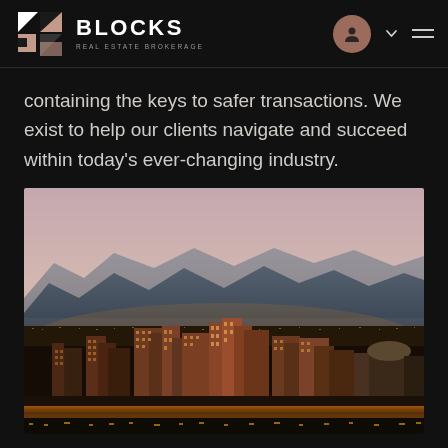BLOCKS REAL ESTATE BROKERAGE
containing the keys to safer transactions. We exist to help our clients navigate and succeed within today's ever-changing industry.
[Figure (photo): Aerial panoramic view of a city skyline at dusk with mountains in the background, city lights illuminating the foreground — likely Phoenix, Arizona.]